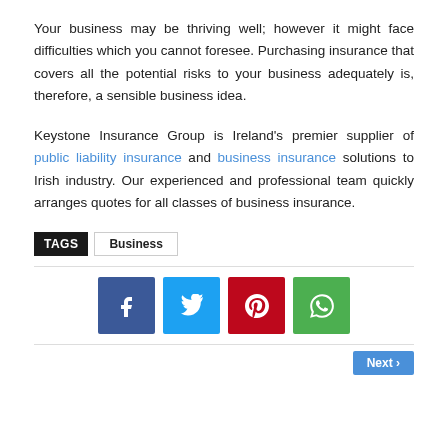Your business may be thriving well; however it might face difficulties which you cannot foresee. Purchasing insurance that covers all the potential risks to your business adequately is, therefore, a sensible business idea.
Keystone Insurance Group is Ireland's premier supplier of public liability insurance and business insurance solutions to Irish industry. Our experienced and professional team quickly arranges quotes for all classes of business insurance.
TAGS  Business
[Figure (infographic): Row of four social share buttons: Facebook (dark blue), Twitter (light blue), Pinterest (red), WhatsApp (green), each with white icon.]